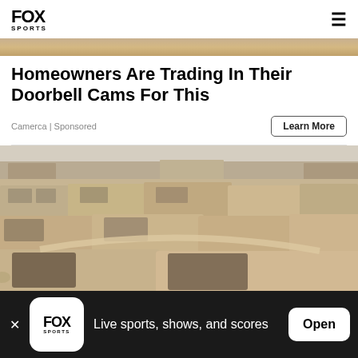FOX SPORTS
[Figure (photo): Partial decorative top image strip showing sandy/warm toned background]
Homeowners Are Trading In Their Doorbell Cams For This
Camerca | Sponsored
[Figure (photo): Aerial photo of a crowded parking lot or junkyard filled with dusty/sandy vehicles]
Live sports, shows, and scores